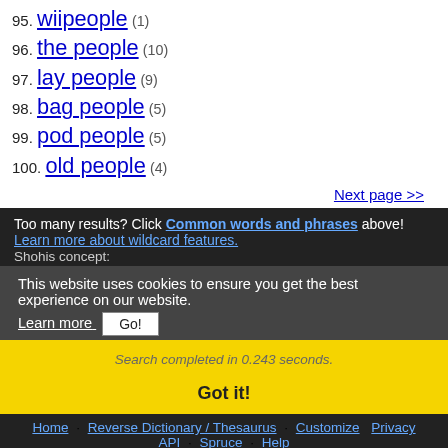95. wiipeople (1)
96. the people (10)
97. lay people (9)
98. bag people (5)
99. pod people (5)
100. old people (4)
Next page >>
Too many results? Click Common words and phrases above! Learn more about wildcard features.
This website uses cookies to ensure you get the best experience on our website.
Learn more   Got it!
Search completed in 0.243 seconds.
Got it!
Home · Reverse Dictionary / Thesaurus · Customize · Privacy · API · Spruce · Help